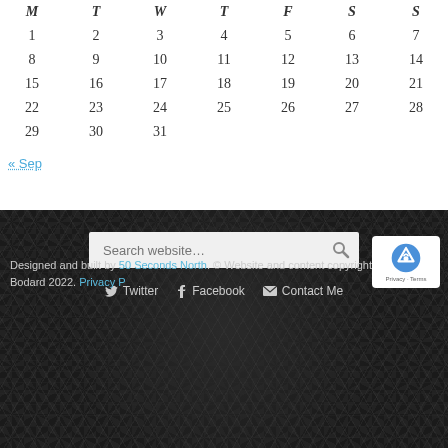| M | T | W | T | F | S | S |
| --- | --- | --- | --- | --- | --- | --- |
| 1 | 2 | 3 | 4 | 5 | 6 | 7 |
| 8 | 9 | 10 | 11 | 12 | 13 | 14 |
| 15 | 16 | 17 | 18 | 19 | 20 | 21 |
| 22 | 23 | 24 | 25 | 26 | 27 | 28 |
| 29 | 30 | 31 |  |  |  |  |
« Sep
[Figure (screenshot): Dark hexagonal patterned footer section with search box, social media links (Twitter, Facebook, Contact Me), footer text about copyright, and reCAPTCHA badge.]